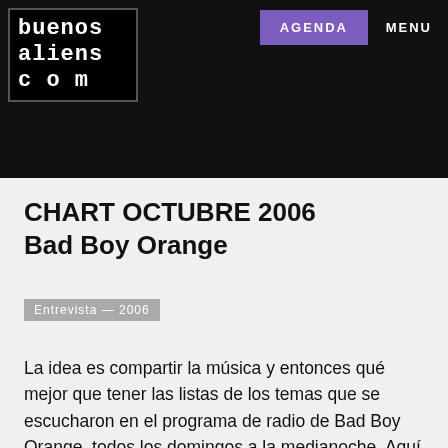buenos aliens com — AGENDA — MENU
CHART OCTUBRE 2006
Bad Boy Orange
Entrevista — 2006
La idea es compartir la música y entonces qué mejor que tener las listas de los temas que se escucharon en el programa de radio de Bad Boy Orange, todos los domingos a la medianoche. Aquí todos los track-list de OCTUBRE 2006